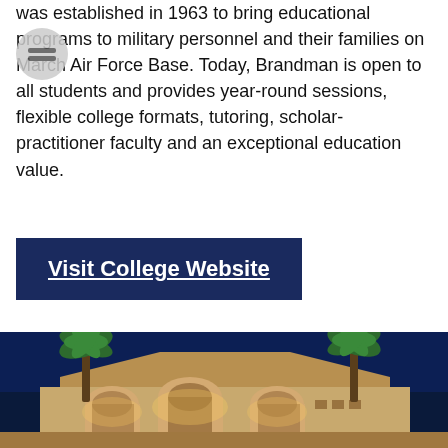was established in 1963 to bring educational programs to military personnel and their families on March Air Force Base. Today, Brandman is open to all students and provides year-round sessions, flexible college formats, tutoring, scholar-practitioner faculty and an exceptional education value.
Visit College Website
[Figure (photo): Night photograph of a college building with arched entryways illuminated in warm yellow light, flanked by tall palm trees against a deep blue evening sky.]